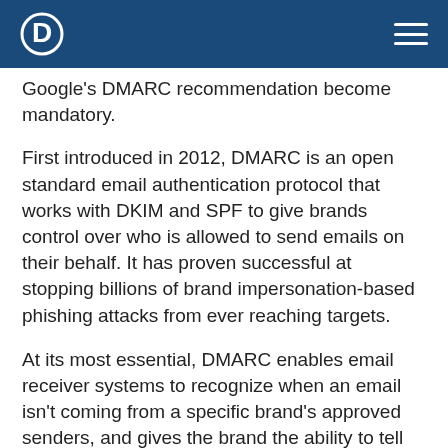Google's DMARC recommendation become mandatory.
First introduced in 2012, DMARC is an open standard email authentication protocol that works with DKIM and SPF to give brands control over who is allowed to send emails on their behalf. It has proven successful at stopping billions of brand impersonation-based phishing attacks from ever reaching targets.
At its most essential, DMARC enables email receiver systems to recognize when an email isn't coming from a specific brand's approved senders, and gives the brand the ability to tell email receiver systems what to do with these unauthorized email messages - including delivering them, quarantining them, or rejecting them outright.
When implemented properly with its strictest, "reject" enforcement policy, DMARC can protect your brand's